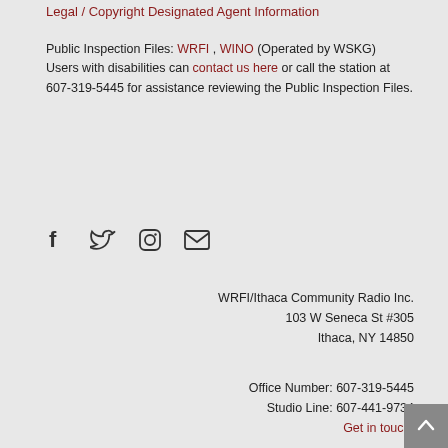Legal / Copyright Designated Agent Information
Public Inspection Files: WRFI , WINO (Operated by WSKG)
Users with disabilities can contact us here or call the station at
607-319-5445 for assistance reviewing the Public Inspection Files.
[Figure (infographic): Social media icons: Facebook, Twitter, Instagram, Email]
WRFI/Ithaca Community Radio Inc.
103 W Seneca St #305
Ithaca, NY 14850
Office Number: 607-319-5445
Studio Line: 607-441-9734
Get in touch!